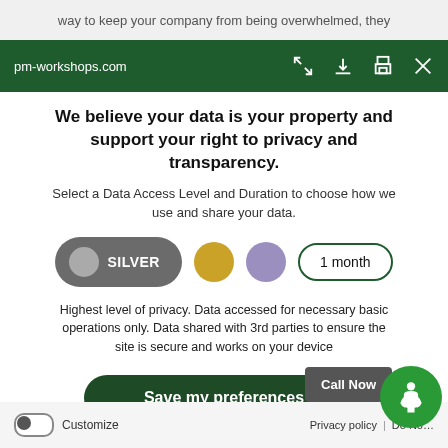way to keep your company from being overwhelmed, they
pm-workshops.com
We believe your data is your property and support your right to privacy and transparency.
Select a Data Access Level and Duration to choose how we use and share your data.
[Figure (screenshot): Three toggle buttons: SILVER (dark grey pill with grey circle), gold circle, purple circle, and a '1 month' outlined pill button]
Highest level of privacy. Data accessed for necessary basic operations only. Data shared with 3rd parties to ensure the site is secure and works on your device
Save my preferences
Call Now
Customize
Privacy policy  |  Do Not Sell